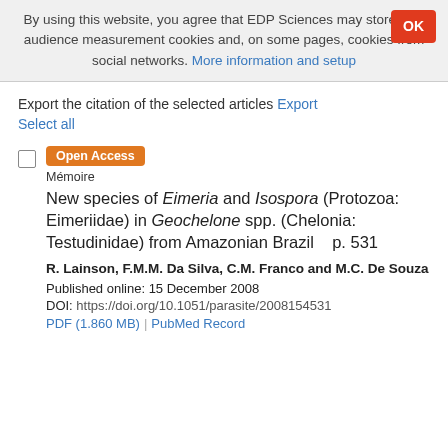By using this website, you agree that EDP Sciences may store web audience measurement cookies and, on some pages, cookies from social networks. More information and setup
Export the citation of the selected articles Export
Select all
Open Access
Mémoire
New species of Eimeria and Isospora (Protozoa: Eimeriidae) in Geochelone spp. (Chelonia: Testudinidae) from Amazonian Brazil   p. 531
R. Lainson, F.M.M. Da Silva, C.M. Franco and M.C. De Souza
Published online: 15 December 2008
DOI: https://doi.org/10.1051/parasite/2008154531
PDF (1.860 MB)  PubMed Record